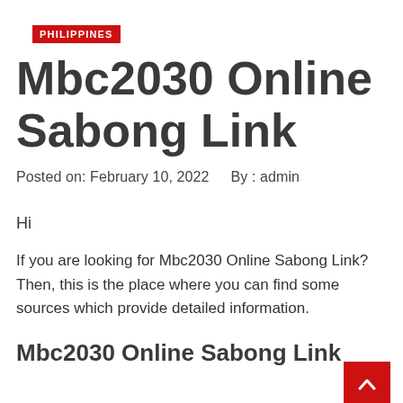PHILIPPINES
Mbc2030 Online Sabong Link
Posted on: February 10, 2022    By : admin
Hi
If you are looking for Mbc2030 Online Sabong Link? Then, this is the place where you can find some sources which provide detailed information.
Mbc2030 Online Sabong Link